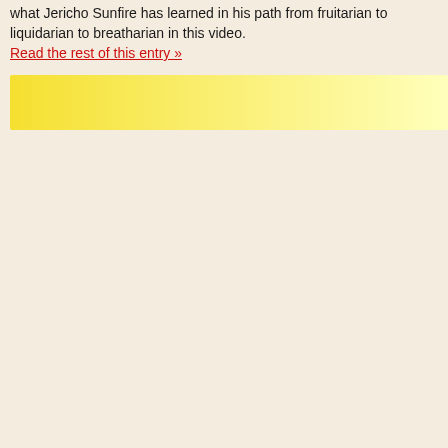what Jericho Sunfire has learned in his path from fruitarian to liquidarian to breatharian in this video.
Read the rest of this entry »
[Figure (other): A horizontal yellow gradient bar fading from saturated yellow on the left to pale yellow-white on the right]